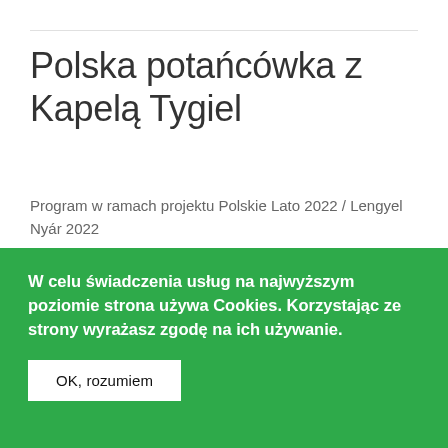Polska potańcówka z Kapelą Tygiel
Program w ramach projektu Polskie Lato 2022 / Lengyel Nyár 2022
Kategoria: Aktualności
W celu świadczenia usług na najwyższym poziomie strona używa Cookies. Korzystając ze strony wyrażasz zgodę na ich używanie.
OK, rozumiem